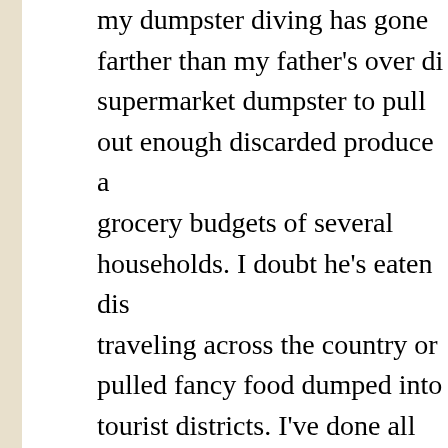my dumpster diving has gone farther than my father's over a supermarket dumpster to pull out enough discarded produce a grocery budgets of several households. I doubt he's eaten dis traveling across the country or pulled fancy food dumped into tourist districts. I've done all those things. We've all got to eat, what I had to do to feed myself.
As a camp host, I sometimes find things in trash cans I can't b
My first camp host trash score came with items campers left m several green propane bottles with labels missing, and they di during their camping trip. I guess they didn't want to haul the b up outside the trash can. I took the bottles over to my campsit days of late mountain spring. Those partially full bottles must h
Later in the summer, I opened a trash can and found nothing b jug. It even had a cap. I pulled it out of the can, washed it, and
Young people driving shiny cars throw out the best stuff. After can to find several tiny, almost new tubes of toothpaste, a nea individually wrapped herbal tea bags with only a few bags mis longer remember. Another time, I found half a bag of marshma several unopened packages of fancy chocolates that had mo